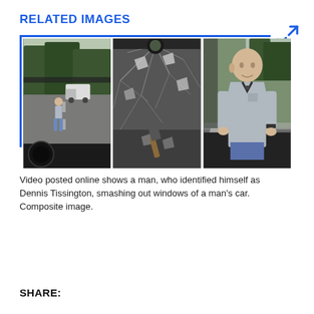RELATED IMAGES
[Figure (photo): Composite of three video stills: left shows a man walking toward camera on a road with trees and a truck in background; center shows a shattered car windshield with a tool visible; right shows an older bald man in a grey polo shirt standing beside the damaged car.]
Video posted online shows a man, who identified himself as Dennis Tissington, smashing out windows of a man's car. Composite image.
SHARE: